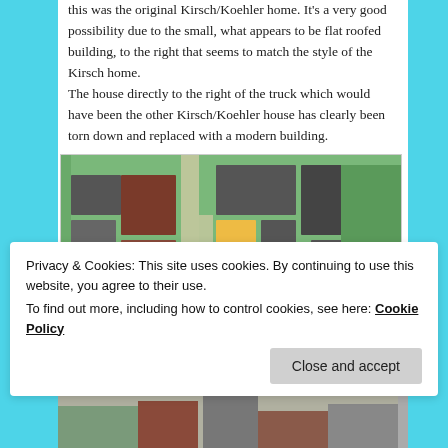this was the original Kirsch/Koehler home. It's a very good possibility due to the small, what appears to be flat roofed building, to the right that seems to match the style of the Kirsch home.
The house directly to the right of the truck which would have been the other Kirsch/Koehler house has clearly been torn down and replaced with a modern building.
[Figure (photo): Aerial/satellite map view of a town showing buildings with red roofs, streets, and green spaces, viewed from above.]
Privacy & Cookies: This site uses cookies. By continuing to use this website, you agree to their use.
To find out more, including how to control cookies, see here: Cookie Policy
[Figure (photo): Partial street-level photo visible at bottom of page.]